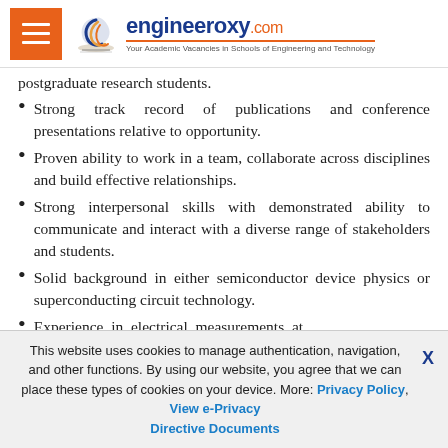engineeroxy.com — Your Academic Vacancies in Schools of Engineering and Technology
postgraduate research students.
Strong track record of publications and conference presentations relative to opportunity.
Proven ability to work in a team, collaborate across disciplines and build effective relationships.
Strong interpersonal skills with demonstrated ability to communicate and interact with a diverse range of stakeholders and students.
Solid background in either semiconductor device physics or superconducting circuit technology.
Experience in electrical measurements at
This website uses cookies to manage authentication, navigation, and other functions. By using our website, you agree that we can place these types of cookies on your device. More: Privacy Policy, View e-Privacy Directive Documents